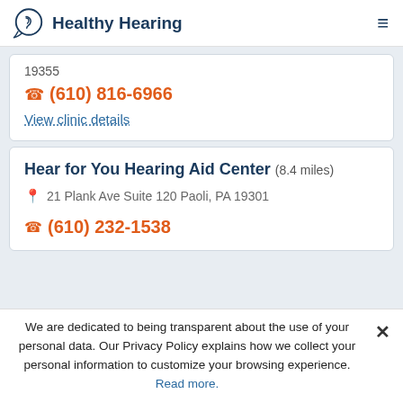Healthy Hearing
19355
(610) 816-6966
View clinic details
Hear for You Hearing Aid Center (8.4 miles)
21 Plank Ave Suite 120 Paoli, PA 19301
(610) 232-1538
We are dedicated to being transparent about the use of your personal data. Our Privacy Policy explains how we collect your personal information to customize your browsing experience. Read more.